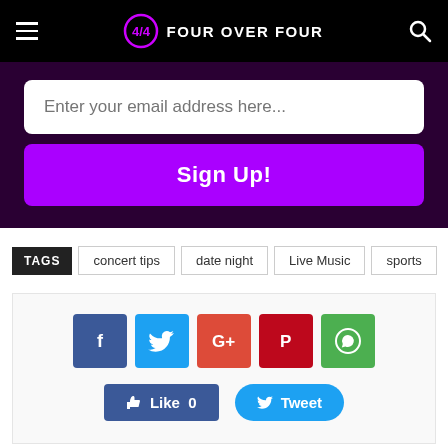FOUR OVER FOUR
Enter your email address here...
Sign Up!
TAGS concert tips date night Live Music sports
[Figure (other): Social share buttons: Facebook, Twitter, Google+, Pinterest, WhatsApp icons and Like / Tweet action buttons]